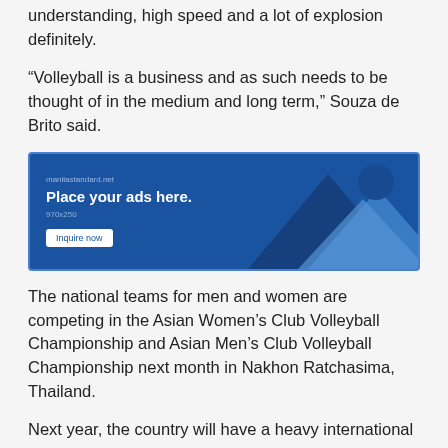understanding, high speed and a lot of explosion definitely.
“Volleyball is a business and as such needs to be thought of in the medium and long term,” Souza de Brito said.
[Figure (infographic): Advertisement banner for manilastadard.net - 'Place your ads here.' 970x250, with Inquire now button and blue mountain graphic]
The national teams for men and women are competing in the Asian Women’s Club Volleyball Championship and Asian Men’s Club Volleyball Championship next month in Nakhon Ratchasima, Thailand.
Next year, the country will have a heavy international